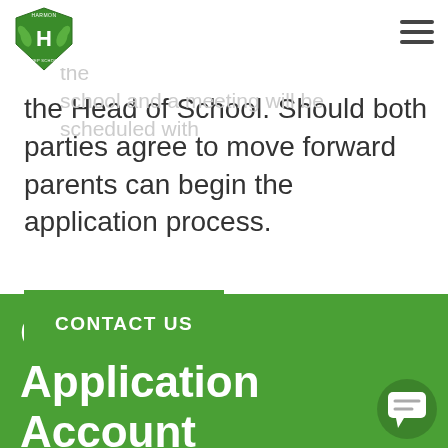Harmon Prep School
contact you within 2 business days to answer any initial questions. A tour of the school and a meeting will be scheduled with the Head of School. Should both parties agree to move forward parents can begin the application process.
CONTACT US
Online Application Account